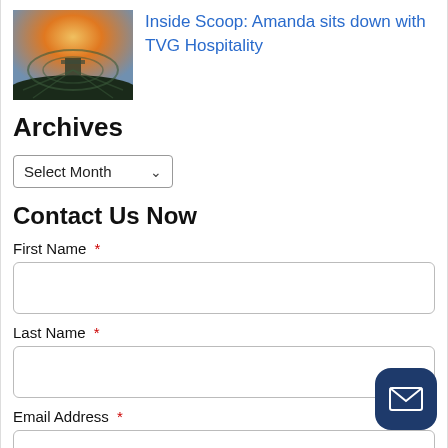[Figure (photo): Thumbnail photo of a venue or stadium at sunset with fisheye lens effect]
Inside Scoop: Amanda sits down with TVG Hospitality
Archives
Select Month dropdown
Contact Us Now
First Name *
Last Name *
Email Address *